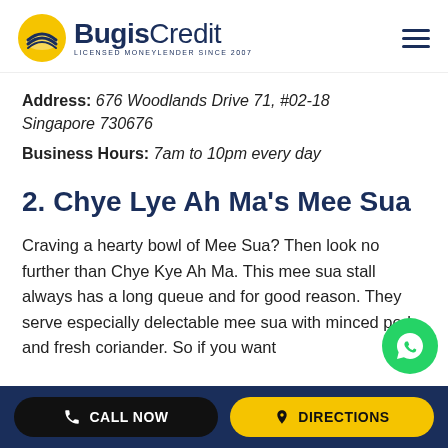BugisCredit — Licensed Moneylender Since 2007
Address: 676 Woodlands Drive 71, #02-18 Singapore 730676
Business Hours: 7am to 10pm every day
2. Chye Lye Ah Ma's Mee Sua
Craving a hearty bowl of Mee Sua? Then look no further than Chye Kye Ah Ma. This mee sua stall always has a long queue and for good reason. They serve especially delectable mee sua with minced pork and fresh coriander. So if you want
CALL NOW | DIRECTIONS